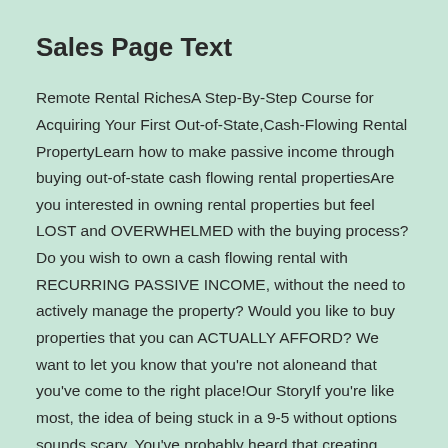Sales Page Text
Remote Rental RichesA Step-By-Step Course for Acquiring Your First Out-of-State,Cash-Flowing Rental PropertyLearn how to make passive income through buying out-of-state cash flowing rental propertiesAre you interested in owning rental properties but feel LOST and OVERWHELMED with the buying process? Do you wish to own a cash flowing rental with RECURRING PASSIVE INCOME, without the need to actively manage the property? Would you like to buy properties that you can ACTUALLY AFFORD? We want to let you know that you’re not aloneand that you’ve come to the right place!Our StoryIf you’re like most, the idea of being stuck in a 9-5 without options sounds scary. You’ve probably heard that creating multiple